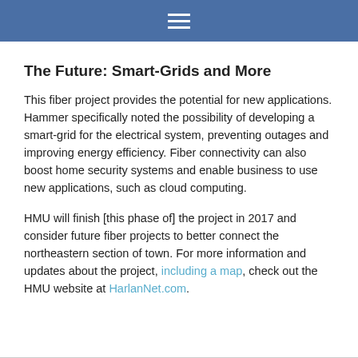☰
The Future: Smart-Grids and More
This fiber project provides the potential for new applications. Hammer specifically noted the possibility of developing a smart-grid for the electrical system, preventing outages and improving energy efficiency. Fiber connectivity can also boost home security systems and enable business to use new applications, such as cloud computing.
HMU will finish [this phase of] the project in 2017 and consider future fiber projects to better connect the northeastern section of town. For more information and updates about the project, including a map, check out the HMU website at HarlanNet.com.